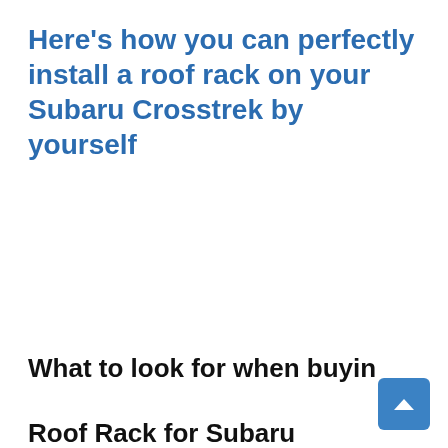Here's how you can perfectly install a roof rack on your Subaru Crosstrek by yourself
What to look for when buying Roof Rack for Subaru Crosstrek: